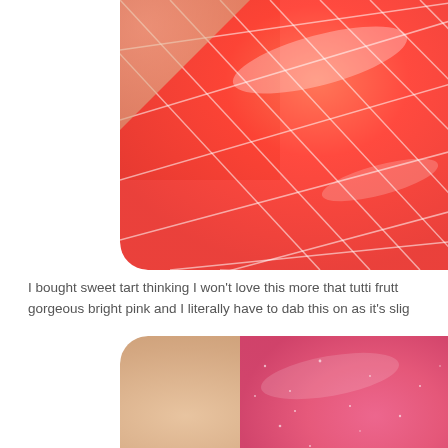[Figure (photo): Close-up photo of a red/coral faceted jelly-like product with diamond pattern texture, cropped in upper right area with rounded bottom-left corner]
I bought sweet tart thinking I won't love this more that tutti frutt gorgeous bright pink and I literally have to dab this on as it's slig
[Figure (photo): Close-up photo of a bright pink shimmer/glitter product swatch on skin, with rounded top-left corner visible]